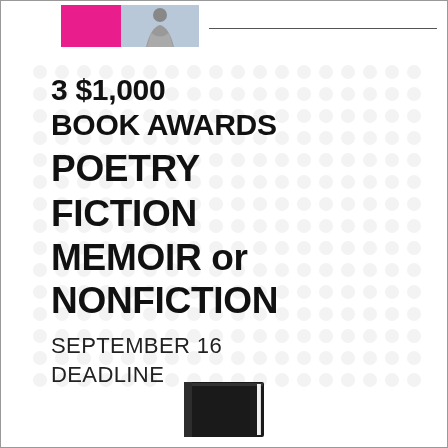[Figure (photo): Pink/magenta block and person silhouette image in top left, with a horizontal line extending to the right]
3 $1,000 BOOK AWARDS
POETRY
FICTION
MEMOIR or NONFICTION
SEPTEMBER 16 DEADLINE
[Figure (photo): Dark book partially visible at the bottom center of the page]